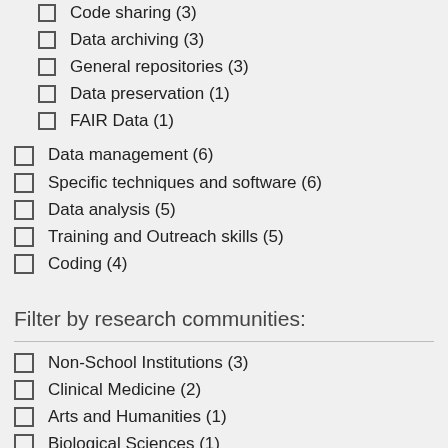Code sharing (3)
Data archiving (3)
General repositories (3)
Data preservation (1)
FAIR Data (1)
Data management (6)
Specific techniques and software (6)
Data analysis (5)
Training and Outreach skills (5)
Coding (4)
Filter by research communities:
Non-School Institutions (3)
Clinical Medicine (2)
Arts and Humanities (1)
Biological Sciences (1)